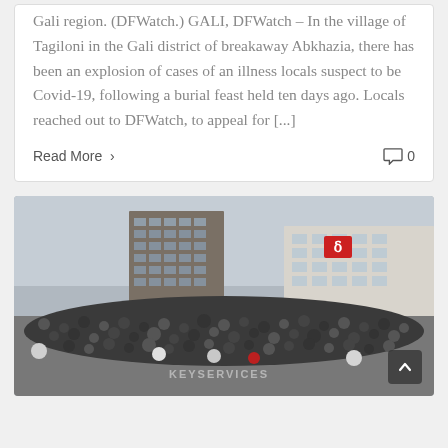Gali region. (DFWatch.) GALI, DFWatch – In the village of Tagiloni in the Gali district of breakaway Abkhazia, there has been an explosion of cases of an illness locals suspect to be Covid-19, following a burial feast held ten days ago. Locals reached out to DFWatch, to appeal for [...]
Read More ›
0
[Figure (photo): Large crowd gathered in a city square in front of multi-story buildings. A red Georgian Public Broadcaster logo is visible in the upper right area of the photo. People are wearing masks. Watermark text visible at bottom center.]